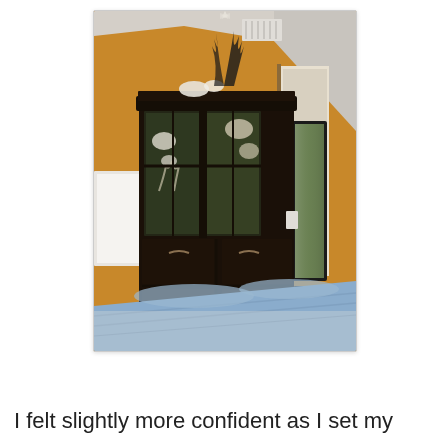[Figure (photo): Interior bedroom photo showing a large dark wooden china cabinet/armoire against a warm golden-orange wall. The cabinet has glass doors displaying decorative items including shells and coral. On top of the cabinet are feathers and white decorative objects. In the foreground is a blue/grey bedspread. To the right is a tall dark-framed mirror leaning against the wall, and a small black stool. The room has a vaulted ceiling with a white HVAC vent.]
I felt slightly more confident as I set my